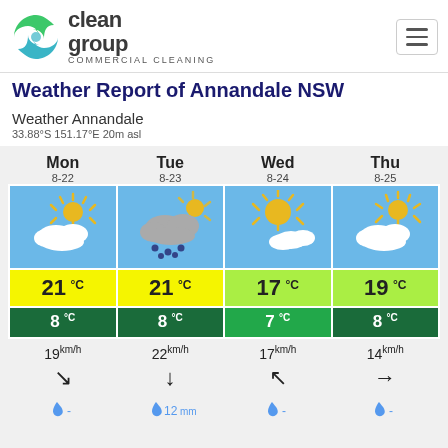[Figure (logo): Clean Group Commercial Cleaning logo with green/teal swirl icon and text]
Weather Report of Annandale NSW
Weather Annandale
33.88°S 151.17°E 20m asl
| Mon
8-22 | Tue
8-23 | Wed
8-24 | Thu
8-25 |
| --- | --- | --- | --- |
| [partly cloudy icon] | [rainy icon] | [mostly sunny icon] | [partly cloudy icon] |
| 21 °C | 21 °C | 17 °C | 19 °C |
| 8 °C | 8 °C | 7 °C | 8 °C |
| 19 km/h ↘ | 22 km/h ↓ | 17 km/h ↖ | 14 km/h → |
| - mm | 12 mm | - mm | - mm |